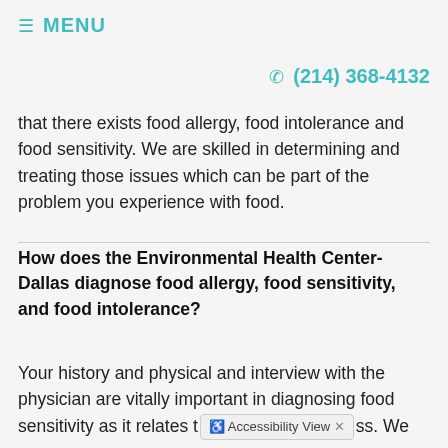≡ MENU
☎ (214) 368-4132
that there exists food allergy, food intolerance and food sensitivity. We are skilled in determining and treating those issues which can be part of the problem you experience with food.
How does the Environmental Health Center-Dallas diagnose food allergy, food sensitivity, and food intolerance?
Your history and physical and interview with the physician are vitally important in diagnosing food sensitivity as it relates t [Accessibility View] ss. We use